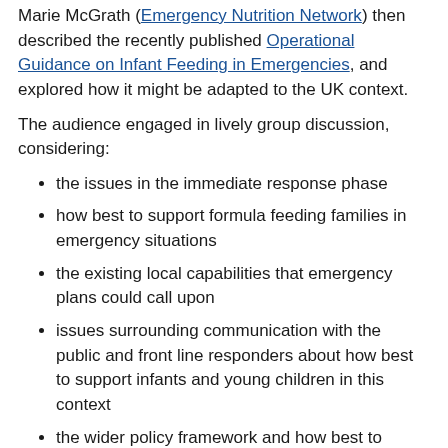Marie McGrath (Emergency Nutrition Network) then described the recently published Operational Guidance on Infant Feeding in Emergencies, and explored how it might be adapted to the UK context.
The audience engaged in lively group discussion, considering:
the issues in the immediate response phase
how best to support formula feeding families in emergency situations
the existing local capabilities that emergency plans could call upon
issues surrounding communication with the public and front line responders about how best to support infants and young children in this context
the wider policy framework and how best to ensure, at a central policy level, that infants and young children are specifically provided for